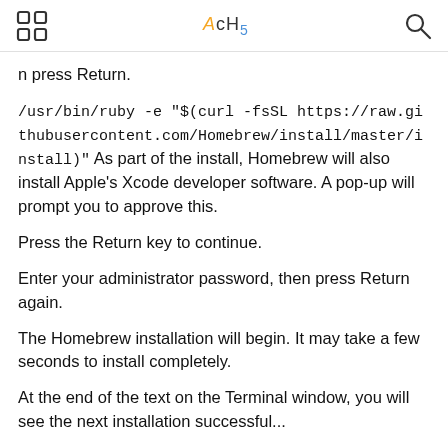AcHs
n press Return.
/usr/bin/ruby -e "$(curl -fsSL https://raw.githubusercontent.com/Homebrew/install/master/install)"
As part of the install, Homebrew will also install Apple's Xcode developer software. A pop-up will prompt you to approve this.
Press the Return key to continue.
Enter your administrator password, then press Return again.
The Homebrew installation will begin. It may take a few seconds to install completely.
At the end of the text on the Terminal window, you will see the next installation successful...